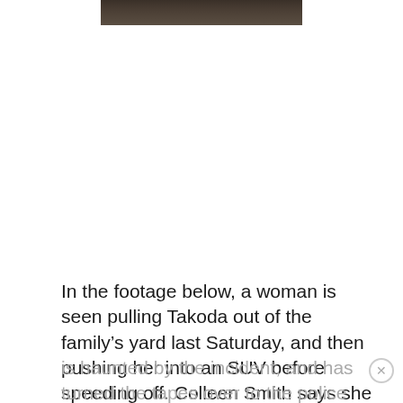[Figure (photo): Partial photo visible at the top of the page, showing a dark outdoor scene, cropped to just the bottom strip.]
In the footage below, a woman is seen pulling Takoda out of the family’s yard last Saturday, and then pushing her into an SUV before speeding off. Colleen Smith says she
is haunted by the incident, and has turned the tapes over to the police with the hope